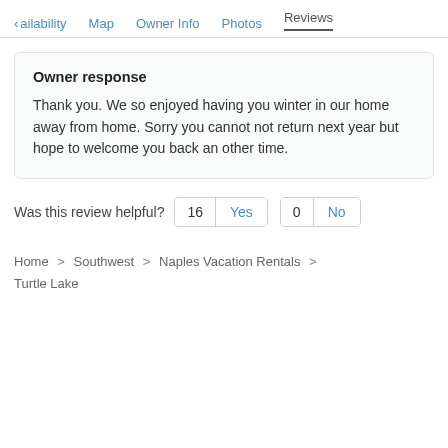< ailability  Map  Owner Info  Photos  Reviews
Owner response
Thank you. We so enjoyed having you winter in our home away from home. Sorry you cannot not return next year but hope to welcome you back an other time.
Was this review helpful?  16  Yes  0  No
Home > Southwest > Naples Vacation Rentals > Turtle Lake